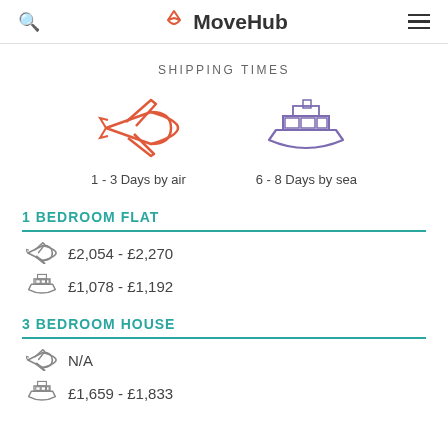MoveHub
SHIPPING TIMES
[Figure (infographic): Plane icon (orange) with label '1 - 3 Days by air' and ship icon (purple) with label '6 - 8 Days by sea']
1 BEDROOM FLAT
£2,054 - £2,270 (by air)
£1,078 - £1,192 (by sea)
3 BEDROOM HOUSE
N/A (by air)
£1,659 - £1,833 (by sea)